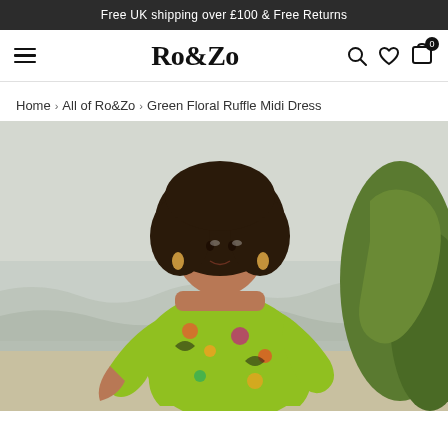Free UK shipping over £100 & Free Returns
Ro&Zo
Home › All of Ro&Zo › Green Floral Ruffle Midi Dress
[Figure (photo): A woman with curly hair wearing a green floral ruffle dress, posed near moss-covered rocks at a beach with waves in the background.]